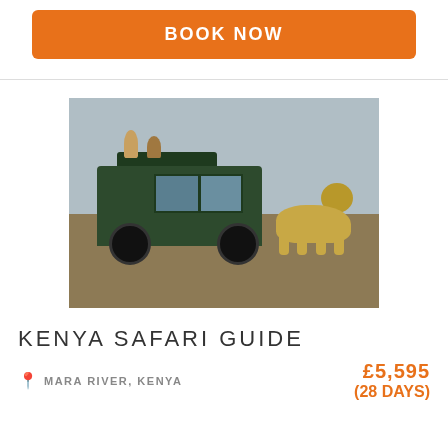BOOK NOW
[Figure (photo): Safari jeep with tourists on the roof hatch photographing wildlife on the African savanna. A lion walks in the foreground to the right of the vehicle. Mara River, Kenya.]
KENYA SAFARI GUIDE
MARA RIVER, KENYA
£5,595 (28 DAYS)